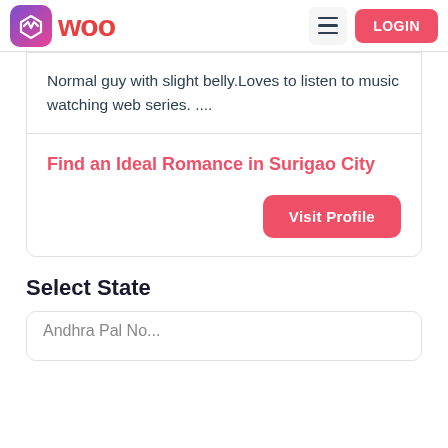WOO
Normal guy with slight belly.Loves to listen to music watching web series. ....
Find an Ideal Romance in Surigao City
Visit Profile
Select State
Andhra Pal No...